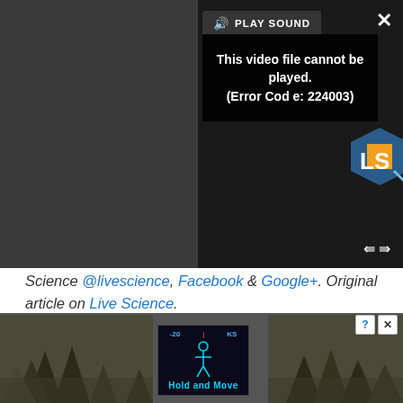[Figure (screenshot): Video player overlay with PLAY SOUND button and error message 'This video file cannot be played. (Error Code: 224003)' on dark background, with Live Science logo visible, close (X) and expand icons.]
Science @livescience, Facebook & Google+. Original article on Live Science.
Agata Blaszczak-Boxe
Staff Writer
[Figure (screenshot): Bottom advertisement strip showing 'Hold and Move' app/game with person silhouette icon on dark screen, with trees in background, question mark and X close icons, and blue bar at top of ad.]